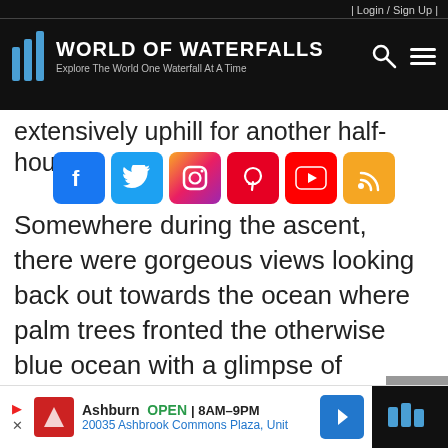| Login / Sign Up | World of Waterfalls — Explore The World One Waterfall At A Time
extensively uphill for another half-hour.
[Figure (infographic): Social media icons row: Facebook, Twitter, Instagram, Pinterest, YouTube, RSS]
Somewhere during the ascent, there were gorgeous views looking back out towards the ocean where palm trees fronted the otherwise blue ocean with a glimpse of Qamea Island as well.
[Figure (infographic): Scroll-to-top button (grey upward chevron)]
Ashburn OPEN | 8AM–9PM  20035 Ashbrook Commons Plaza, Unit